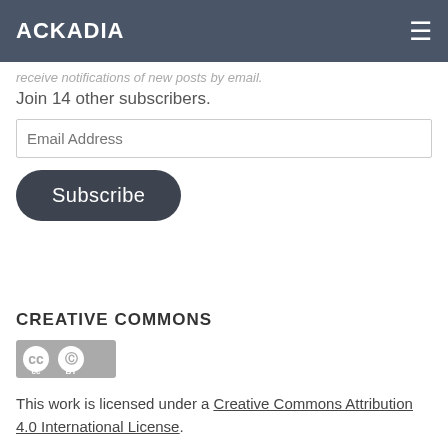ACKADIA
receive notifications of new posts by email.
Join 14 other subscribers.
Email Address
Subscribe
CREATIVE COMMONS
[Figure (logo): Creative Commons BY license badge showing CC and BY icons in a grey rectangle]
This work is licensed under a Creative Commons Attribution 4.0 International License.